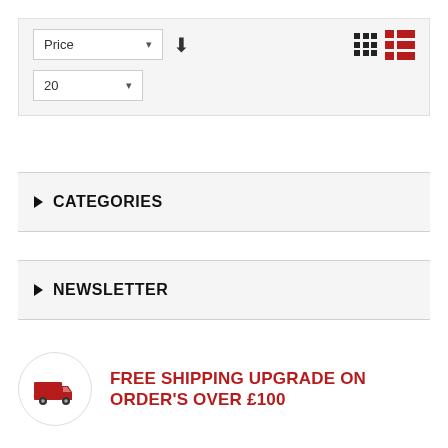[Figure (screenshot): E-commerce filter toolbar with Price sort dropdown, descending arrow, grid/list view icons, and a per-page count dropdown showing 20]
CATEGORIES
NEWSLETTER
FREE SHIPPING UPGRADE ON ORDER'S OVER £100